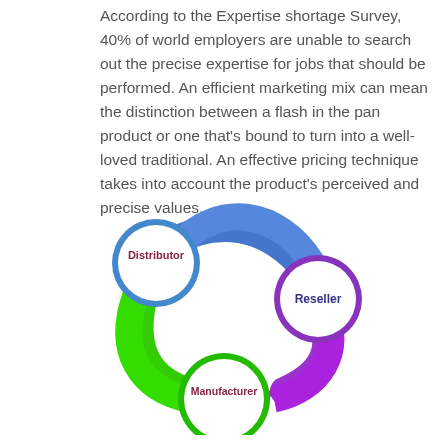According to the Expertise shortage Survey, 40% of world employers are unable to search out the precise expertise for jobs that should be performed. An efficient marketing mix can mean the distinction between a flash in the pan product or one that's bound to turn into a well-loved traditional. An effective pricing technique takes into account the product's perceived and precise values.
[Figure (flowchart): Circular flow diagram with three nodes: Distributor (blue circle, top-left), Reseller (purple circle, right), and Manufacturer (green circle, bottom-center). Blue arrow goes from Distributor to Reseller (top), purple arrow goes from Reseller to Manufacturer (right side), green arrow goes from Manufacturer back to Distributor (left side).]